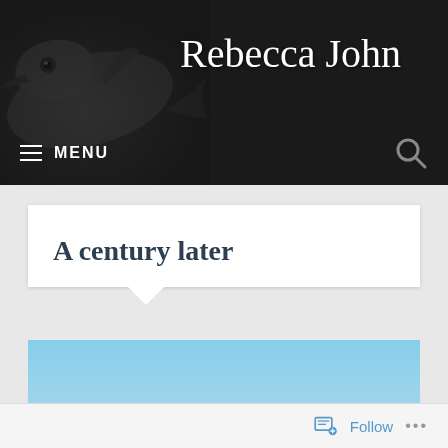[Figure (photo): Website header with dark background, dolphin image on left, and cursive 'Rebecca John' site title in white text on right]
≡ MENU
A century later
[Figure (photo): Wide panoramic photo of Iguazu Falls waterfall with blue sky, tree line, and mist rising from the falls]
Follow ...